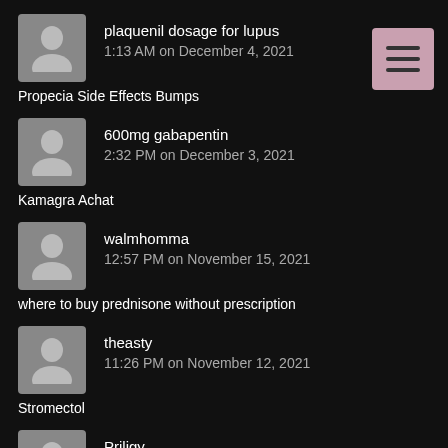plaquenil dosage for lupus
1:13 AM on December 4, 2021
Propecia Side Effects Bumps
600mg gabapentin
2:32 PM on December 3, 2021
Kamagra Achat
walmhomma
12:57 PM on November 15, 2021
where to buy prednisone without prescription
theasty
11:26 PM on November 12, 2021
Stromectol
Priligy
10:57 PM on November 12, 2021
uk kamagra